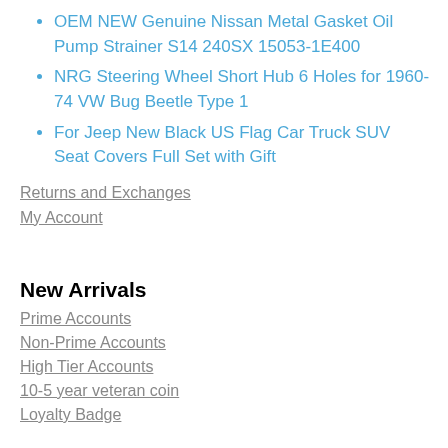OEM NEW Genuine Nissan Metal Gasket Oil Pump Strainer S14 240SX 15053-1E400
NRG Steering Wheel Short Hub 6 Holes for 1960-74 VW Bug Beetle Type 1
For Jeep New Black US Flag Car Truck SUV Seat Covers Full Set with Gift
Returns and Exchanges
My Account
New Arrivals
Prime Accounts
Non-Prime Accounts
High Tier Accounts
10-5 year veteran coin
Loyalty Badge